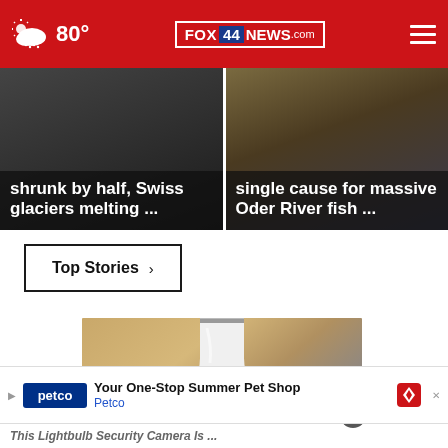80° FOX 44 NEWS.com
shrunk by half, Swiss glaciers melting ...
single cause for massive Oder River fish ...
Top Stories ›
[Figure (photo): A white smart LED light bulb product photo on a wooden surface background]
[Figure (other): Close X button overlay on image]
Your One-Stop Summer Pet Shop Petco
This Lightbulb Security Camera Is ...